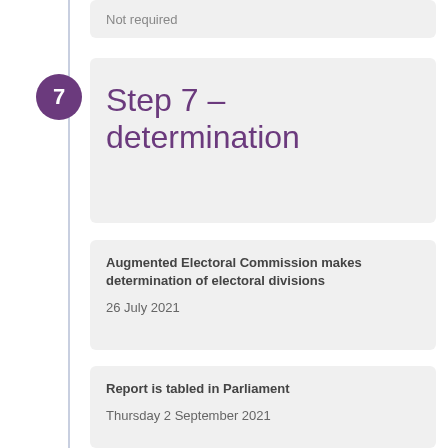Not required
Step 7 – determination
Augmented Electoral Commission makes determination of electoral divisions
26 July 2021
Report is tabled in Parliament
Thursday 2 September 2021